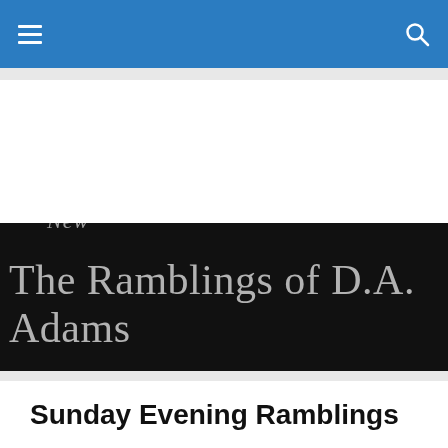Navigation bar with hamburger menu and search icon
[Figure (logo): Blog logo banner: black background with silver serif text reading 'New The Ramblings of D.A. Adams', where 'New' appears as a smaller italic word above 'The']
Sunday Evening Ramblings